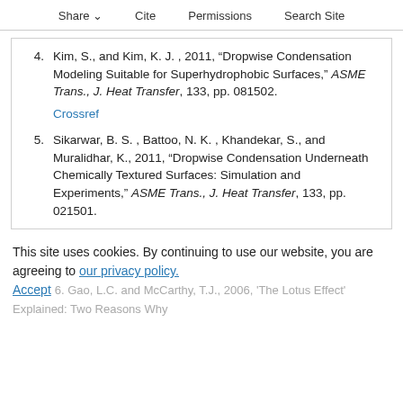Share  Cite  Permissions  Search Site
4. Kim, S., and Kim, K. J. , 2011, "Dropwise Condensation Modeling Suitable for Superhydrophobic Surfaces," ASME Trans., J. Heat Transfer, 133, pp. 081502.
Crossref
5. Sikarwar, B. S. , Battoo, N. K. , Khandekar, S., and Muralidhar, K., 2011, "Dropwise Condensation Underneath Chemically Textured Surfaces: Simulation and Experiments," ASME Trans., J. Heat Transfer, 133, pp. 021501.
This site uses cookies. By continuing to use our website, you are agreeing to our privacy policy. Accept
6. Gao, L.C. and McCarthy, T.J., 2006, 'The Lotus Effect' Explained: Two Reasons Why